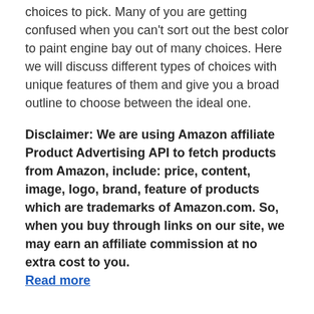choices to pick. Many of you are getting confused when you can't sort out the best color to paint engine bay out of many choices. Here we will discuss different types of choices with unique features of them and give you a broad outline to choose between the ideal one.
Disclaimer: We are using Amazon affiliate Product Advertising API to fetch products from Amazon, include: price, content, image, logo, brand, feature of products which are trademarks of Amazon.com. So, when you buy through links on our site, we may earn an affiliate commission at no extra cost to you. Read more